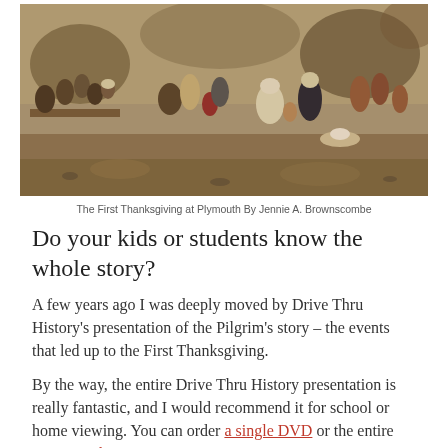[Figure (illustration): Painting of the First Thanksgiving at Plymouth, showing Pilgrims and Native Americans gathered outdoors for a feast, with tables, women, men, and children in period clothing, painted in warm earth tones.]
The First Thanksgiving at Plymouth By Jennie A. Brownscombe
Do your kids or students know the whole story?
A few years ago I was deeply moved by Drive Thru History's presentation of the Pilgrim's story – the events that led up to the First Thanksgiving.
By the way, the entire Drive Thru History presentation is really fantastic, and I would recommend it for school or home viewing. You can order a single DVD or the entire American history